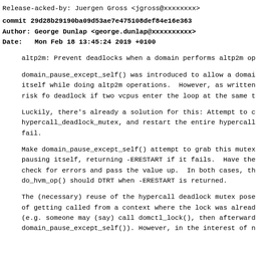Release-acked-by: Juergen Gross <jgross@xxxxxxxx>
commit 29d28b29190ba09d53ae7e475108def84e16e363
Author: George Dunlap <george.dunlap@xxxxxxxxxx>
Date:   Mon Feb 18 13:45:24 2019 +0100
altp2m: Prevent deadlocks when a domain performs altp2m op
domain_pause_except_self() was introduced to allow a domai
    itself while doing altp2m operations.  However, as written
    risk fo deadlock if two vcpus enter the loop at the same t
Luckily, there's already a solution for this: Attempt to c
    hypercall_deadlock_mutex, and restart the entire hypercall
    fail.
Make domain_pause_except_self() attempt to grab this mutex
    pausing itself, returning -ERESTART if it fails.  Have the
    check for errors and pass the value up.  In both cases, th
    do_hvm_op() should DTRT when -ERESTART is returned.
The (necessary) reuse of the hypercall deadlock mutex pose
    of getting called from a context where the lock was alread
    (e.g. someone may (say) call domctl_lock(), then afterward
    domain_pause_except_self()). However, in the interest of n